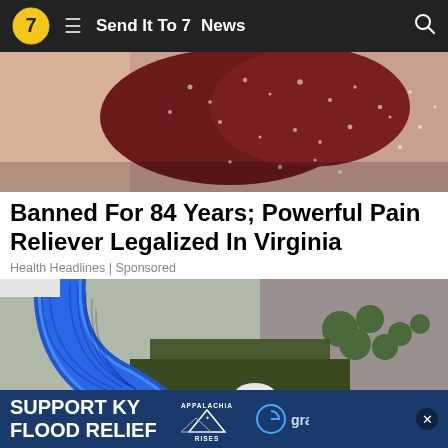7  ≡  Send It To 7  News  🔍
[Figure (photo): Close-up of a hand holding dark red gummy candy covered in sugar crystals]
Banned For 84 Years; Powerful Pain Reliever Legalized In Virginia
Health Headlines | Sponsored
[Figure (photo): A blue ribbed flexible hose/pipe bent in a U-shape over a rain gutter, with foliage and a brick wall in the background]
[Figure (infographic): Advertisement banner: SUPPORT KY FLOOD RELIEF with Appalachia Rises logo and gray television network logo]